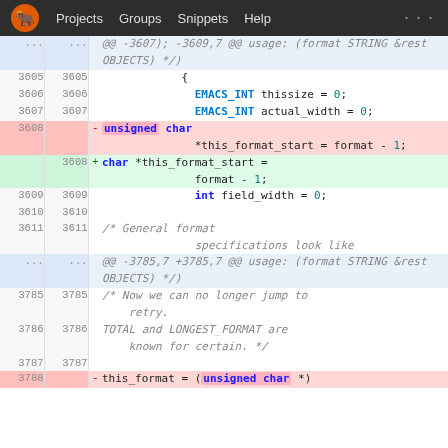GNU Emacs GitLab diff viewer — Projects Groups Snippets Help
[Figure (screenshot): Code diff showing lines 3605–3611 and 3785–3788 of an Emacs C source file, with a deletion of 'unsigned char *this_format_start = format - 1;' and addition of 'char *this_format_start = format - 1;']